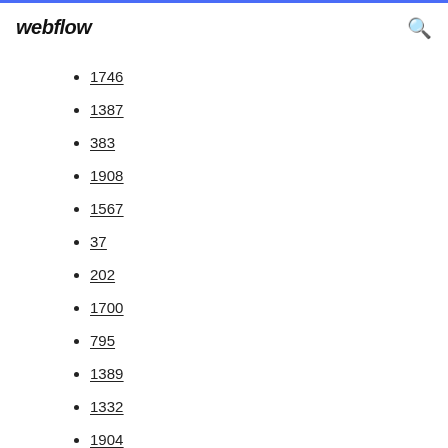webflow
1746
1387
383
1908
1567
37
202
1700
795
1389
1332
1904